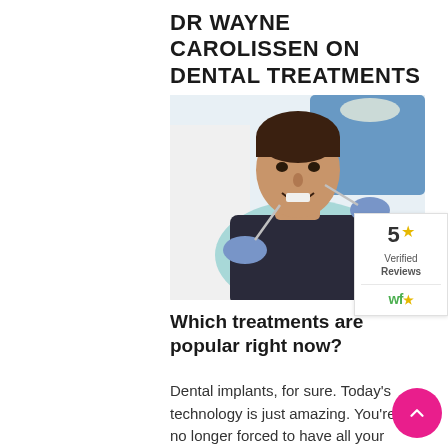DR WAYNE CAROLISSEN ON DENTAL TREATMENTS
[Figure (photo): A young male patient smiling in a dental chair while a dentist in white coat and blue gloves performs dental work with instruments]
Which treatments are popular right now?
Dental implants, for sure. Today's technology is just amazing. You're no longer forced to have all your teeth